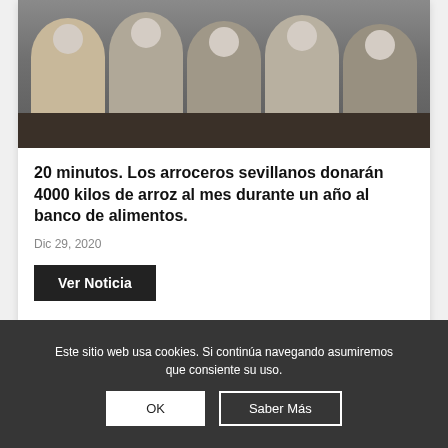[Figure (photo): Group of five men wearing face masks seated at a dark table, some with blue folders and bread on the table, signing documents at what appears to be a formal agreement ceremony.]
20 minutos. Los arroceros sevillanos donarán 4000 kilos de arroz al mes durante un año al banco de alimentos.
Dic 29, 2020
Ver Noticia
Este sitio web usa cookies. Si continúa navegando asumiremos que consiente su uso.